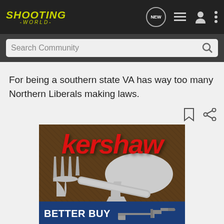SHOOTING -WORLD-
Search Community
For being a southern state VA has way too many Northern Liberals making laws.
[Figure (screenshot): Kershaw brand advertisement showing a spork utensil on brown textured background with red Kershaw logo, and a blue bar below reading BETTER BUY with a gun image]